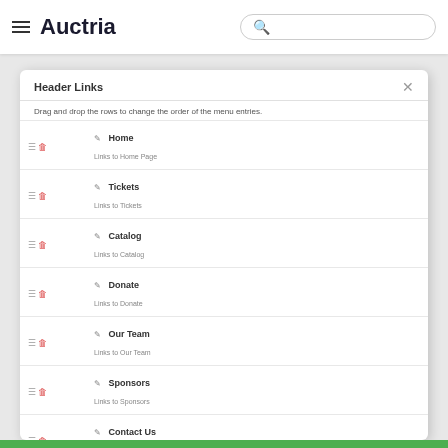Auctria
Header Links
Drag and drop the rows to change the order of the menu entries.
|  | Name | Description |
| --- | --- | --- |
| Home | Links to Home Page |
| Tickets | Links to Tickets |
| Catalog | Links to Catalog |
| Donate | Links to Donate |
| Our Team | Links to Our Team |
| Sponsors | Links to Sponsors |
| Contact Us | Links to special page: Contact Us |
| Register | Links to special page: Online Registration |
| My Account | Links to special page: Account |
| Sign In | Links to special page: Sign In |
Add Page
Add Special
Add External
Add Submenu